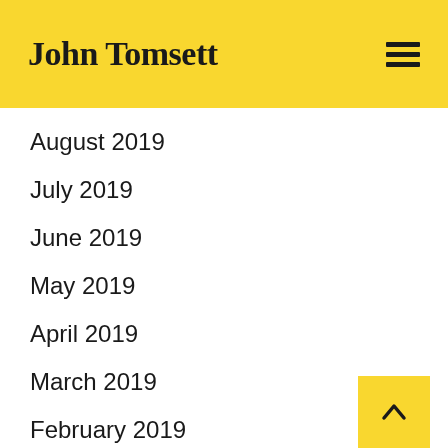John Tomsett
August 2019
July 2019
June 2019
May 2019
April 2019
March 2019
February 2019
January 2019
December 2018
November 2018